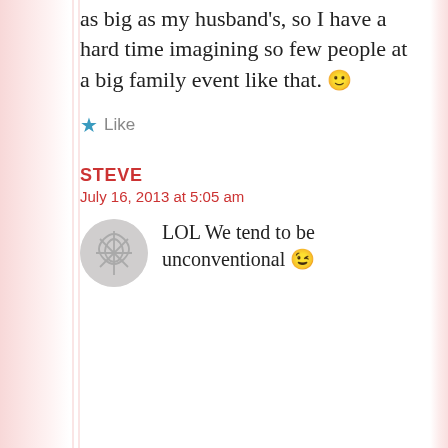as big as my husband's, so I have a hard time imagining so few people at a big family event like that. 🙂
★ Like
STEVE
July 16, 2013 at 5:05 am
LOL We tend to be unconventional 😉